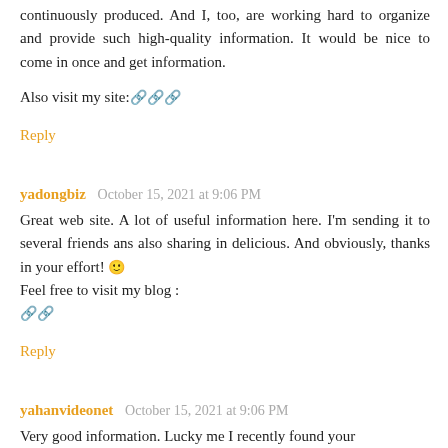continuously produced. And I, too, are working hard to organize and provide such high-quality information. It would be nice to come in once and get information.
Also visit my site: 🔗🔗🔗
Reply
yadongbiz  October 15, 2021 at 9:06 PM
Great web site. A lot of useful information here. I'm sending it to several friends ans also sharing in delicious. And obviously, thanks in your effort! 🙂 Feel free to visit my blog : 🔗
Reply
yahanvideonet  October 15, 2021 at 9:06 PM
Very good information. Lucky me I recently found your